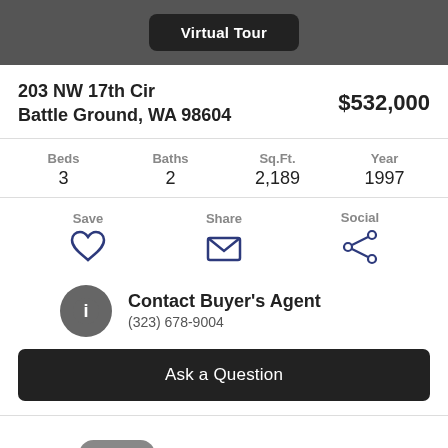Virtual Tour
203 NW 17th Cir
Battle Ground, WA 98604
$532,000
| Beds | Baths | Sq.Ft. | Year |
| --- | --- | --- | --- |
| 3 | 2 | 2,189 | 1997 |
Save  Share  Social
Contact Buyer's Agent
(323) 678-9004
Ask a Question
Status: Sold